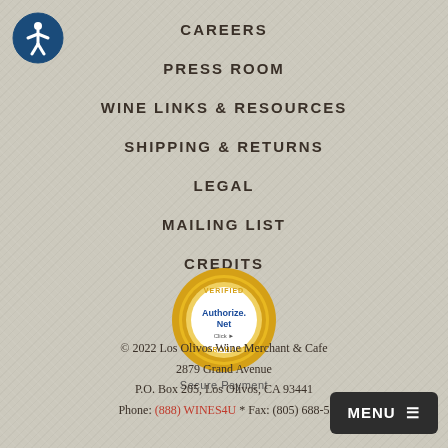[Figure (logo): Accessibility icon - blue circle with white person figure in universal accessibility symbol]
CAREERS
PRESS ROOM
WINE LINKS & RESOURCES
SHIPPING & RETURNS
LEGAL
MAILING LIST
CREDITS
[Figure (logo): Authorize.Net Verified Merchant seal - gold circular badge with blue Authorize.Net Click text in center, labeled Secure Payment below]
© 2022 Los Olivos Wine Merchant & Cafe
2879 Grand Avenue
P.O. Box 205, Los Olivos, CA 93441
Phone: (888) WINES4U * Fax: (805) 688-5